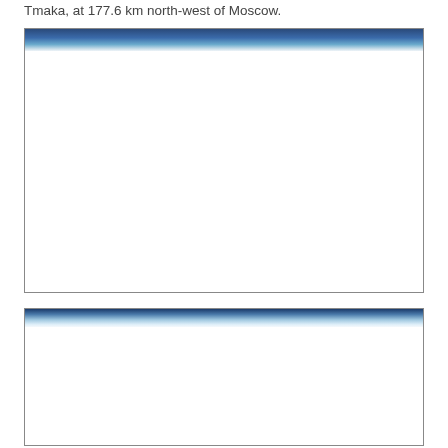Tmaka, at 177.6 km north-west of Moscow.
[Figure (photo): Photograph with a blue sky and clouds visible as a banner strip at the top; the main content area is white/blank below the sky strip.]
[Figure (photo): Photograph with a blue and white cloudy sky visible as a banner strip at the top; the main content area is white/blank below the sky strip.]